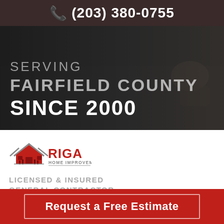📞 (203) 380-0755
[Figure (screenshot): Hero background image showing a dark room with a person on a couch, overlaid with text: SERVING FAIRFIELD COUNTY SINCE 2000]
SERVING FAIRFIELD COUNTY SINCE 2000
[Figure (logo): RIGA Home Improvement logo with house/building icon in red and gray]
LICENSED & INSURED GENERAL CONTRACTOR
COPYRIGHT © 2022 BY RIGA HOME IMPROVEMENT   PRIVACY POLICY   SITEMAP
[Figure (other): Social media icons row: Facebook, Instagram, Google, and one more]
Request a Free Estimate